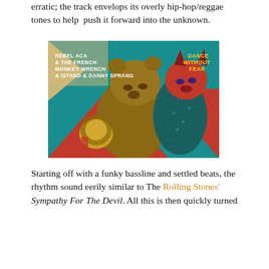erratic; the track envelops its overly hip-hop/reggae tones to help push it forward into the unknown.
[Figure (illustration): Album cover art for 'Dance Without Fear' by Rebel Aca & The French Monkey Wrench & Istand & Danny Sprang. Features illustrated anthropomorphic animals (bear, wolf in suit, lion) against a red, teal and cream graphic background.]
Starting off with a funky bassline and settled beats, the rhythm sound eerily similar to The Rolling Stones' Sympathy For The Devil. All this is then quickly turned